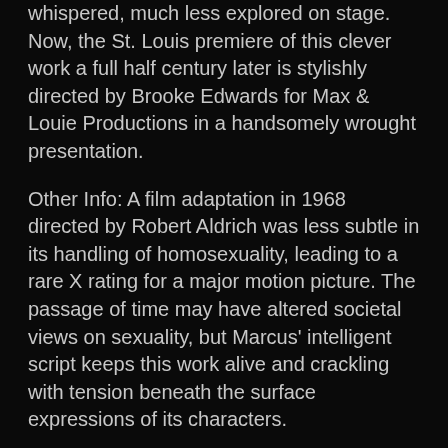whispered, much less explored on stage. Now, the St. Louis premiere of this clever work a full half century later is stylishly directed by Brooke Edwards for Max & Louie Productions in a handsomely wrought presentation.
Other Info: A film adaptation in 1968 directed by Robert Aldrich was less subtle in its handling of homosexuality, leading to a rare X rating for a major motion picture. The passage of time may have altered societal views on sexuality, but Marcus' intelligent script keeps this work alive and crackling with tension beneath the surface expressions of its characters.
The action takes place on a sumptuous set designed by Dunsi Dai elaborate in its details, down to the wallpapering of interior walls behind the primary scenic design that depicts the living room of George and Childey at center stage, a door and window to the kitchen at stage right and a partially hidden foyer at stage left. It's meticulously decorated with a portrait of the Queen, some fine china for tea and other accoutrements contributed in Kyra Bishop's